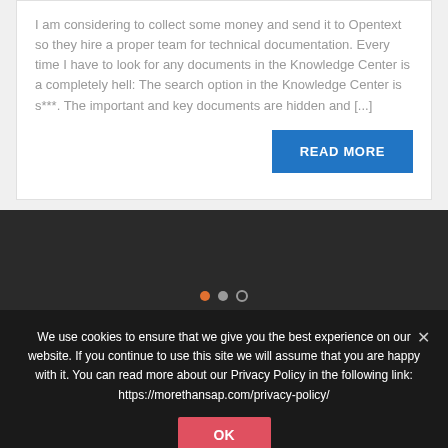I am considering to collect some money and send it to Opentext so they hire a proper team for technical documentation. Every time I have to look for any documents in the Knowledge Center is a completely hell: The search option in the Knowledge Center is s***. The important and key documents are hidden and [...]
READ MORE
[Figure (other): Dark banner/carousel section with three navigation dots (orange, gray, outline)]
We use cookies to ensure that we give you the best experience on our website. If you continue to use this site we will assume that you are happy with it. You can read more about our Privacy Policy in the following link: https://morethansap.com/privacy-policy/
OK